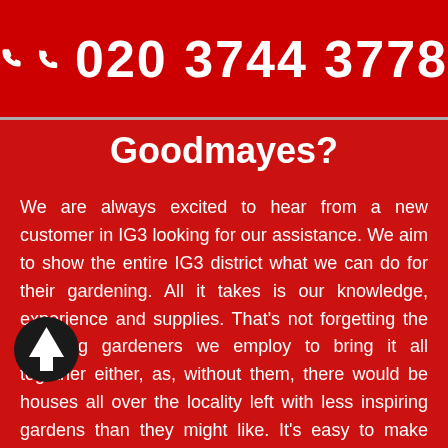[Figure (other): Red phone bar with white phone icon and phone number 020 3744 3778]
Goodmayes?
We are always excited to hear from a new customer in IG3 looking for our assistance. We aim to show the entire IG3 district what we can do for their gardening. All it takes is our knowledge, experience and supplies. That's not forgetting the stunning gardeners we employ to bring it all together either, as, without them, there would be houses all over the locality left with less inspiring gardens than they might like. It's easy to make your reservation by calling Gardeners Goodmayes